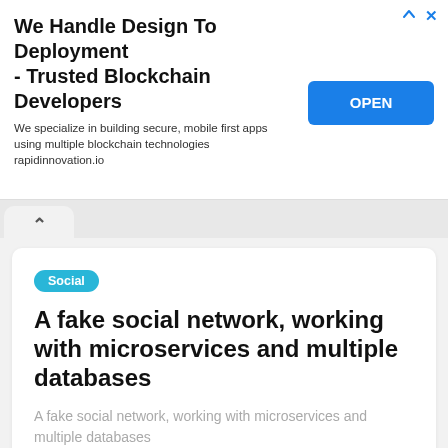[Figure (screenshot): Advertisement banner: 'We Handle Design To Deployment - Trusted Blockchain Developers' with OPEN button]
We Handle Design To Deployment - Trusted Blockchain Developers
We specialize in building secure, mobile first apps using multiple blockchain technologies rapidinnovation.io
Social
A fake social network, working with microservices and multiple databases
A fake social network, working with microservices and multiple databases
25 NOVEMBER 2021